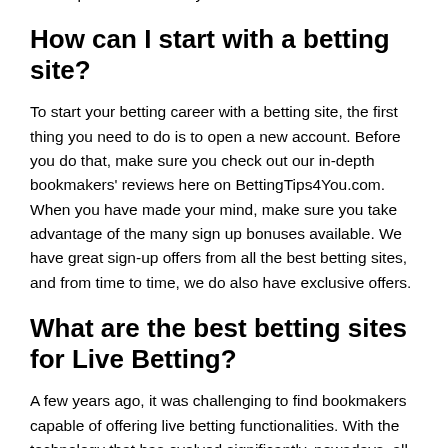will be professional and you will be well looked after.
How can I start with a betting site?
To start your betting career with a betting site, the first thing you need to do is to open a new account. Before you do that, make sure you check out our in-depth bookmakers' reviews here on BettingTips4You.com. When you have made your mind, make sure you take advantage of the many sign up bonuses available. We have great sign-up offers from all the best betting sites, and from time to time, we do also have exclusive offers.
What are the best betting sites for Live Betting?
A few years ago, it was challenging to find bookmakers capable of offering live betting functionalities. With the technology that has evolved significantly, nowadays, all the